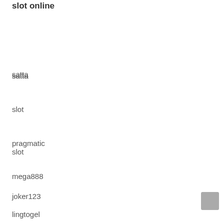slot online
satta
slot
pragmatic
mega888
joker123
lingtogel
RCL threads